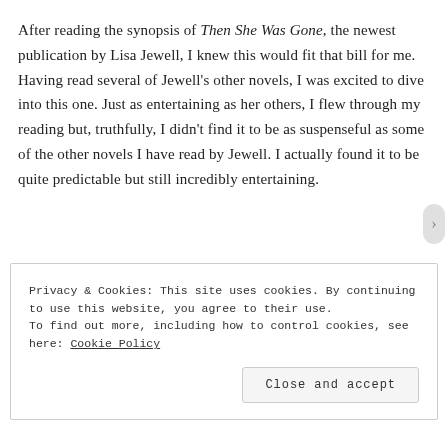After reading the synopsis of Then She Was Gone, the newest publication by Lisa Jewell, I knew this would fit that bill for me. Having read several of Jewell's other novels, I was excited to dive into this one. Just as entertaining as her others, I flew through my reading but, truthfully, I didn't find it to be as suspenseful as some of the other novels I have read by Jewell. I actually found it to be quite predictable but still incredibly entertaining.
Privacy & Cookies: This site uses cookies. By continuing to use this website, you agree to their use. To find out more, including how to control cookies, see here: Cookie Policy
Close and accept